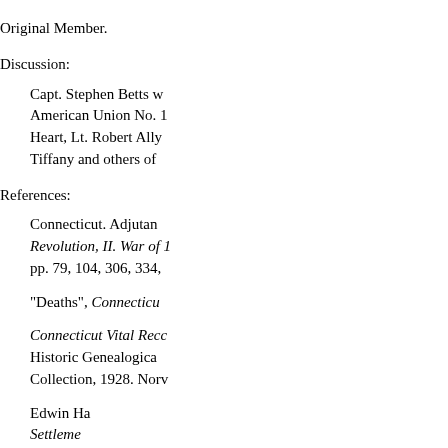Original Member.
Discussion:
Capt. Stephen Betts … American Union No. 1 … Heart, Lt. Robert Ally… Tiffany and others of…
References:
Connecticut. Adjutan… Revolution, II. War of 1… pp. 79, 104, 306, 334,…
"Deaths", Connecticut…
Connecticut Vital Reco… Historic Genealogica… Collection, 1928. Norv…
Edwin Ha… Settleme…
Gary L. Heinmiller. Me…